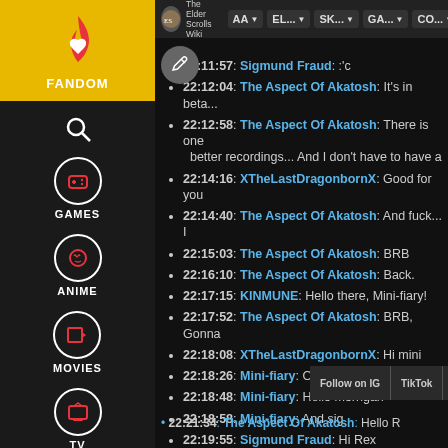[Figure (screenshot): Fandom sidebar with navigation icons for FANDOM, search, GAMES, ANIME, MOVIES, TV, VIDEO, and user profile. Yellow top section with flame logo.]
The Elder Scrolls Wiki | AA | EL... | SK... | GA... | CO...
22:11:57: Sigmund Fraud: :'c
22:12:04: The Aspect Of Akatosh: It's in beta...
22:12:58: The Aspect Of Akatosh: There is one better recordings... And I don't have to have a
22:14:16: XTheLastDragonbornX: Good for you
22:14:40: The Aspect Of Akatosh: And fuck... I
22:15:03: The Aspect Of Akatosh: BRB
22:16:10: The Aspect Of Akatosh: Back.
22:17:15: KINMUNE: Hello there, Mini-fiary!
22:17:52: The Aspect Of Akatosh: BRB, Gonna
22:18:08: XTheLastDragonbornX: Hi mini
22:18:26: Mini-fiary: O/
22:18:48: Mini-fiary: Hello morrigan
22:18:58: Mini-fiary: And sig
22:19:55: Sigmund Fraud: Hi Rex
22 [partial, cut off by bottom bar]
Follow on IG | TikTok | Join Fan Lab | X | R
22:21:34: The Aspect Of Akatosh: Hello R... [partial]